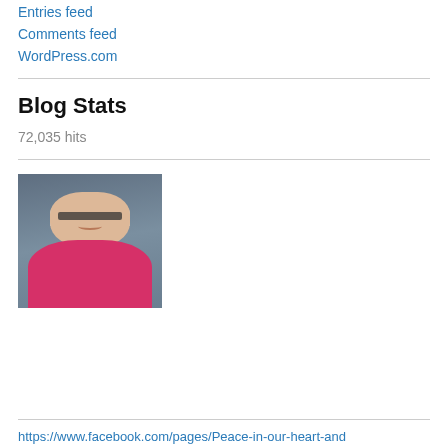Entries feed
Comments feed
WordPress.com
Blog Stats
72,035 hits
[Figure (photo): Portrait photo of an older woman with short gray hair, glasses, wearing a pink shirt and necklace, smiling, against a gray background]
https://www.facebook.com/pages/Peace-in-our-heart-and